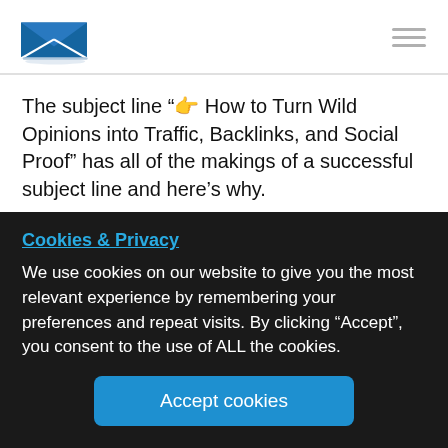[Figure (logo): Email envelope logo icon — blue envelope with white X pattern]
The subject line "👉 How to Turn Wild Opinions into Traffic, Backlinks, and Social Proof" has all of the makings of a successful subject line and here’s why.
1. The subject line gets right to the incentive.
The email marketers with Animalz know what drives their audience and positions this email as a hub of information
Cookies & Privacy
We use cookies on our website to give you the most relevant experience by remembering your preferences and repeat visits. By clicking “Accept”, you consent to the use of ALL the cookies.